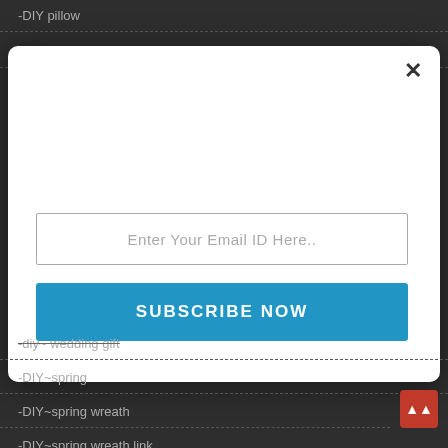- DIY pillow
- DIY pillow bunting
[Figure (screenshot): Modal popup with email input field labeled 'Enter Your Email ID Here..' and a blue 'SUBSCRIBE NOW' button. A close X button is in the top right corner of the modal.]
- diy~ wedding gift
- DIY~spring
- DIY~spring wreath
- DIY~spring wreath link